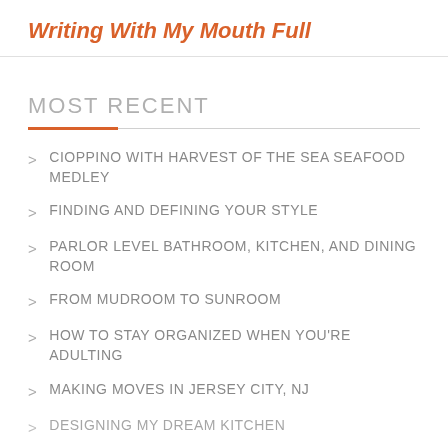Writing With My Mouth Full
MOST RECENT
> CIOPPINO WITH HARVEST OF THE SEA SEAFOOD MEDLEY
> FINDING AND DEFINING YOUR STYLE
> PARLOR LEVEL BATHROOM, KITCHEN, AND DINING ROOM
> FROM MUDROOM TO SUNROOM
> HOW TO STAY ORGANIZED WHEN YOU'RE ADULTING
> MAKING MOVES IN JERSEY CITY, NJ
> DESIGNING MY DREAM KITCHEN